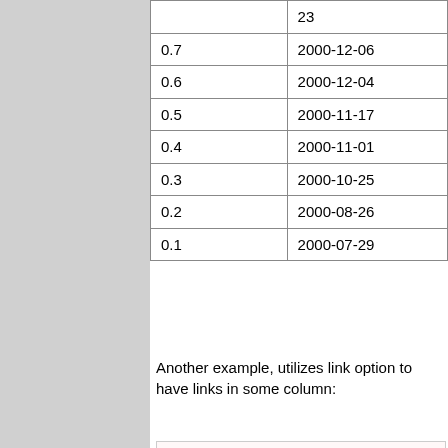|  | 23 |
| 0.7 | 2000-12-06 |
| 0.6 | 2000-12-04 |
| 0.5 | 2000-11-17 |
| 0.4 | 2000-11-01 |
| 0.3 | 2000-10-25 |
| 0.2 | 2000-08-26 |
| 0.1 | 2000-07-29 |
Another example, utilizes link option to have links in some column:
{{{#!csv delimiter=, link=Server quotechar=" Type,Server